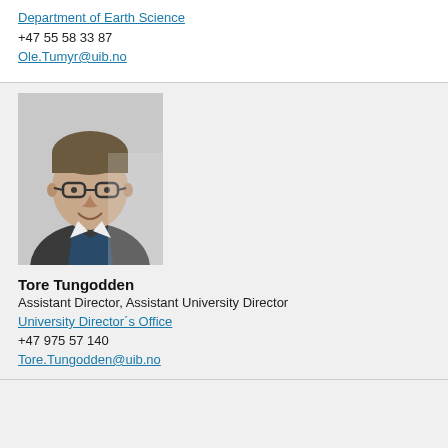Department of Earth Science
+47 55 58 33 87
Ole.Tumyr@uib.no
[Figure (photo): Professional headshot of Tore Tungodden, a middle-aged man with glasses and gray-brown hair wearing a dark suit jacket]
Tore Tungodden
Assistant Director, Assistant University Director
University Director´s Office
+47 975 57 140
Tore.Tungodden@uib.no